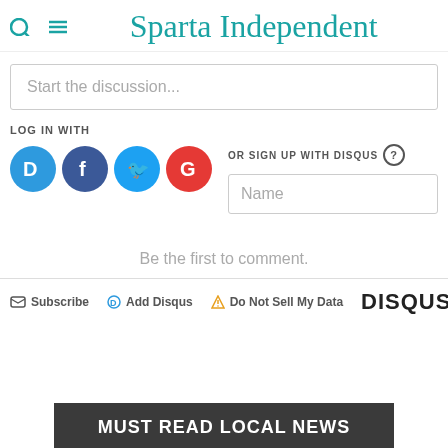Sparta Independent
Start the discussion...
LOG IN WITH
OR SIGN UP WITH DISQUS
Name
Be the first to comment.
Subscribe  Add Disqus  Do Not Sell My Data  DISQUS
MUST READ LOCAL NEWS